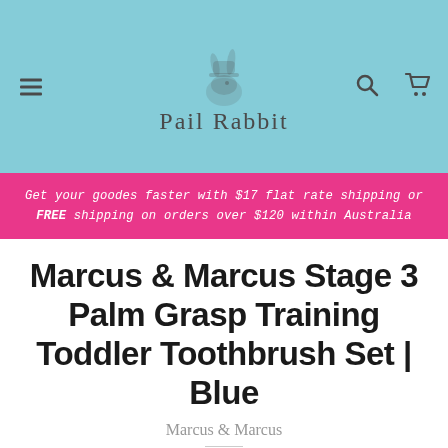Pail Rabbit – navigation header with logo, hamburger menu, search, and cart icons
Get your goodes faster with $17 flat rate shipping or FREE shipping on orders over $120 within Australia
Marcus & Marcus Stage 3 Palm Grasp Training Toddler Toothbrush Set | Blue
Marcus & Marcus
$22.00